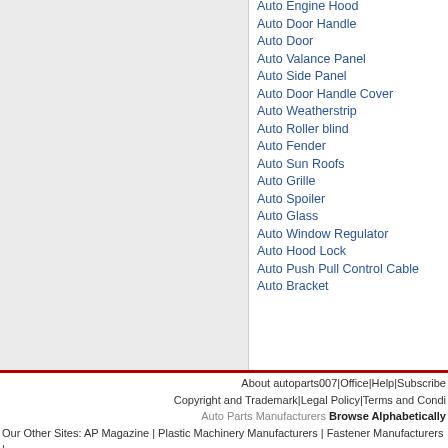Auto Engine Hood
Auto Door Handle
Auto Door
Auto Valance Panel
Auto Side Panel
Auto Door Handle Cover
Auto Weatherstrip
Auto Roller blind
Auto Fender
Auto Sun Roofs
Auto Grille
Auto Spoiler
Auto Glass
Auto Window Regulator
Auto Hood Lock
Auto Push Pull Control Cable
Auto Bracket
About autoparts007|Office|Help|Subscribe
Copyright and Trademark|Legal Policy|Terms and Condi...
Auto Parts Manufacturers Browse Alphabetically
Our Other Sites: AP Magazine | Plastic Machinery Manufacturers | Fastener Manufacturers |
Copyright © 2022 Auto...